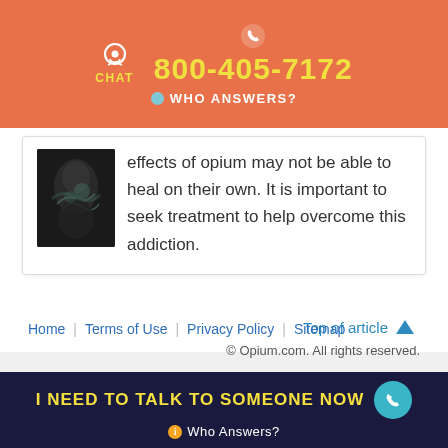CHAT  800-405-7172  WHO ANSWERS?
effects of opium may not be able to heal on their own. It is important to seek treatment to help overcome this addiction.
Top of article
Home | Terms of Use | Privacy Policy | Sitemap
© Opium.com. All rights reserved.
I NEED TO TALK TO SOMEONE NOW  Who Answers?